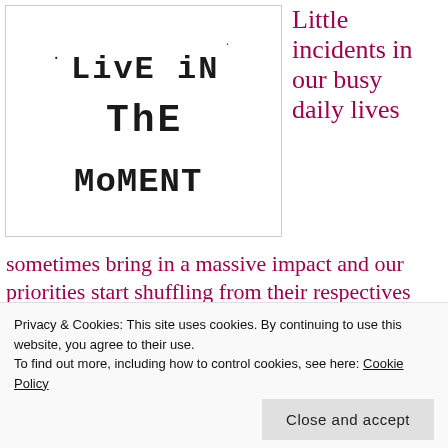[Figure (illustration): Hand-drawn text on white background reading '· LIVE IN THE MOMENT' in blocky, informal lettering]
Little incidents in our busy daily lives
sometimes bring in a massive impact and our priorities start shuffling from their respectives places, a short episode happened near my
Privacy & Cookies: This site uses cookies. By continuing to use this website, you agree to their use.
To find out more, including how to control cookies, see here: Cookie Policy
house in UK. Amongst the few ornamental